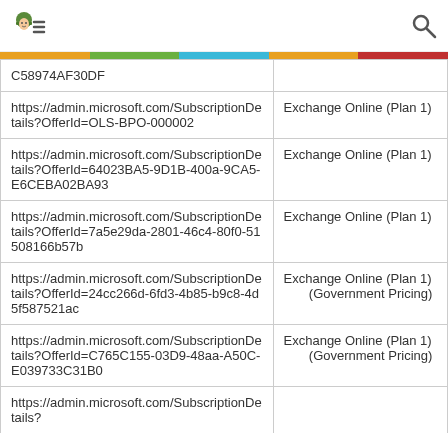[Navigation header with icon and search]
| URL | Product |
| --- | --- |
| C58974AF30DF |  |
| https://admin.microsoft.com/SubscriptionDetails?OfferId=OLS-BPO-000002 | Exchange Online (Plan 1) |
| https://admin.microsoft.com/SubscriptionDetails?OfferId=64023BA5-9D1B-400a-9CA5-E6CEBA02BA93 | Exchange Online (Plan 1) |
| https://admin.microsoft.com/SubscriptionDetails?OfferId=7a5e29da-2801-46c4-80f0-51508166b57b | Exchange Online (Plan 1) |
| https://admin.microsoft.com/SubscriptionDetails?OfferId=24cc266d-6fd3-4b85-b9c8-4d5f587521ac | Exchange Online (Plan 1) (Government Pricing) |
| https://admin.microsoft.com/SubscriptionDetails?OfferId=C765C155-03D9-48aa-A50C-E039733C31B0 | Exchange Online (Plan 1) (Government Pricing) |
| https://admin.microsoft.com/SubscriptionDetails? |  |